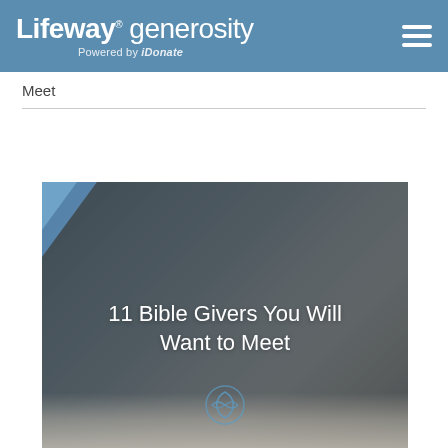Lifeway generosity — Powered by iDonate
Meet
[Figure (illustration): Photo of an open Bible with a blue diagonal ribbon in the top-left corner and text overlay reading '11 Bible Givers You Will Want to Meet' with a circular Lifeway Generosity logo watermark below]